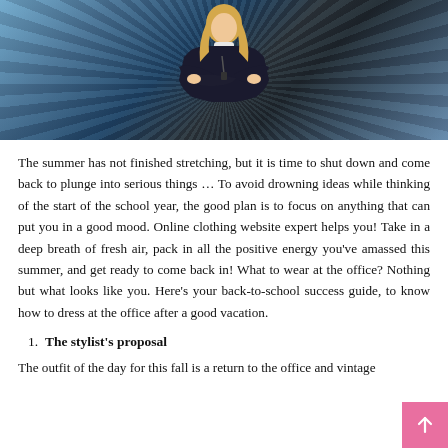[Figure (photo): A businesswoman with arms crossed wearing a black suit, standing in front of blurred streaking lines background (urban motion blur effect).]
The summer has not finished stretching, but it is time to shut down and come back to plunge into serious things … To avoid drowning ideas while thinking of the start of the school year, the good plan is to focus on anything that can put you in a good mood. Online clothing website expert helps you! Take in a deep breath of fresh air, pack in all the positive energy you've amassed this summer, and get ready to come back in! What to wear at the office? Nothing but what looks like you. Here's your back-to-school success guide, to know how to dress at the office after a good vacation.
1. The stylist's proposal
The outfit of the day for this fall is a return to the office and vintage